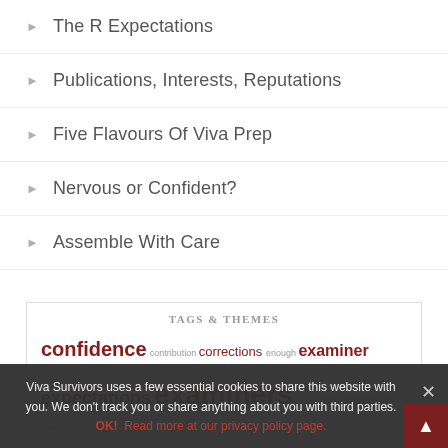The R Expectations
Publications, Interests, Reputations
Five Flavours Of Viva Prep
Nervous or Confident?
Assemble With Care
TAGS & THEMES
confidence  contribution  corrections  enough  examiner  expectations  examiners  expectations  finishing the phd
Viva Survivors uses a few essential cookies to share this website with you. We don't track you or share anything about you with third parties. OK!  Read more at our privacy policy page.